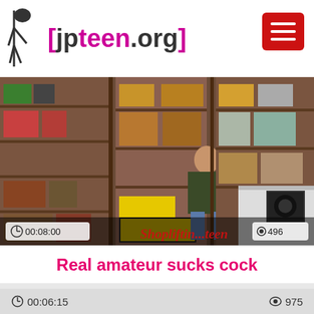[jpteen.org]
[Figure (screenshot): Video thumbnail showing a storage room scene with a young woman seated, shelves with boxes in background. Overlay shows time 00:08:00 and views 496. Watermark text 'Shopliftin...teen']
Real amateur sucks cock
00:06:15   975
Real amateur gets cum